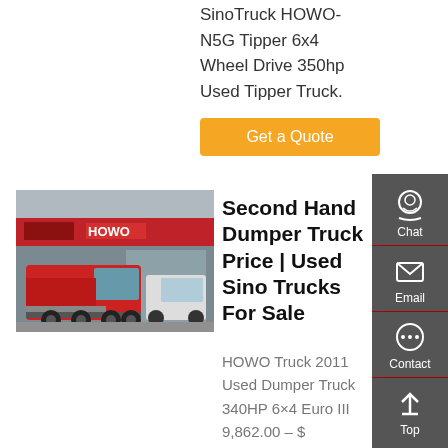SinoTruck HOWO-N5G Tipper 6x4 Wheel Drive 350hp Used Tipper Truck.
Get a Quote
[Figure (photo): Red HOWO truck tractor unit parked at a HOWO dealership/showroom facility, with Chinese characters and HOWO branding visible in the background.]
Second Hand Dumper Truck Price | Used Sino Trucks For Sale
HOWO Truck 2011 Used Dumper Truck 340HP 6×4 Euro III 9,862.00 – $ 12,680.00 Rated out of 5 (be the first to review). Are you in search of a second hand dumper truck price? This